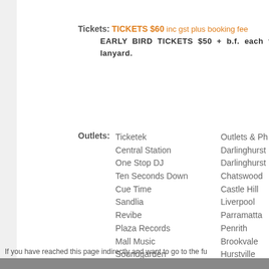Tickets: TICKETS $60 inc gst plus booking fee EARLY BIRD TICKETS $50 + b.f. each ti lanyard.
Outlets: Ticketek | Outlets & Ph, Central Station | Darlinghurst, One Stop DJ | Darlinghurst, Ten Seconds Down | Chatswood, Cue Time | Castle Hill, Sandlia | Liverpool, Revibe | Parramatta, Plaza Records | Penrith, Mall Music | Brookvale, Soundgarden | Hurstville, Patsans | Newcastle
If you have reached this page indirectly and want to go to the fu